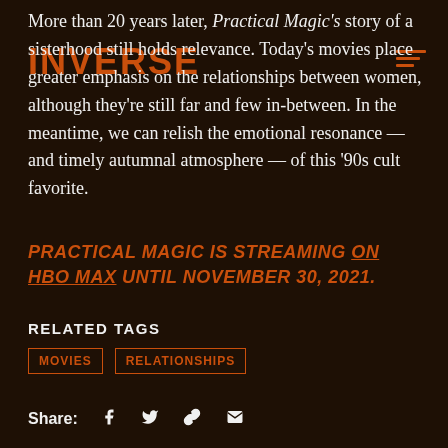INVERSE
More than 20 years later, Practical Magic's story of a sisterhood still holds relevance. Today's movies place greater emphasis on the relationships between women, although they're still far and few in-between. In the meantime, we can relish the emotional resonance — and timely autumnal atmosphere — of this '90s cult favorite.
PRACTICAL MAGIC IS STREAMING ON HBO MAX UNTIL NOVEMBER 30, 2021.
RELATED TAGS
MOVIES
RELATIONSHIPS
Share: